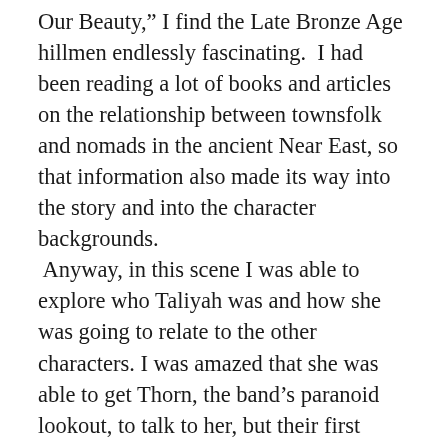Our Beauty," I find the Late Bronze Age hillmen endlessly fascinating.  I had been reading a lot of books and articles on the relationship between townsfolk and nomads in the ancient Near East, so that information also made its way into the story and into the character backgrounds.
 Anyway, in this scene I was able to explore who Taliyah was and how she was going to relate to the other characters. I was amazed that she was able to get Thorn, the band's paranoid lookout, to talk to her, but their first conversation was wonderful.  After that, I was really excited to be writing her story.
About half of the ideas that took root in Overpowered had been hanging out in my head